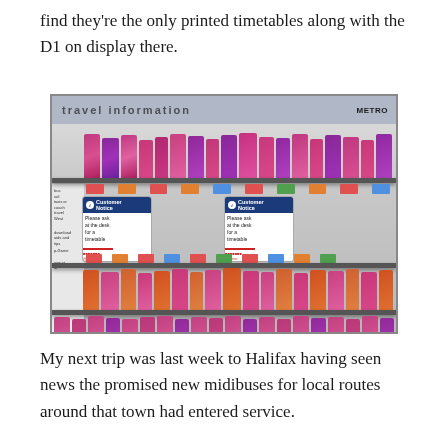find they're the only printed timetables along with the D1 on display there.
[Figure (photo): A travel information display stand with multiple shelves of pink and purple bus/train timetable brochures. Two 'Customer Notice' signs are visible in the middle section, each reading 'Please ask at the desk for a timetable'. A 'METRO' logo appears in the upper right corner of the display. The display has a black frame.]
My next trip was last week to Halifax having seen news the promised new midibuses for local routes around that town had entered service.